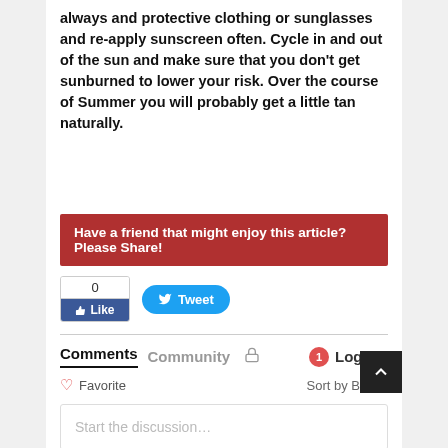always and protective clothing or sunglasses and re-apply sunscreen often. Cycle in and out of the sun and make sure that you don't get sunburned to lower your risk. Over the course of Summer you will probably get a little tan naturally.
Have a friend that might enjoy this article? Please Share!
[Figure (infographic): Facebook Like button with count 0 and Twitter Tweet button]
Comments  Community  [lock icon]  1  Login ▾
♡ Favorite   Sort by Best ▾
Start the discussion…
LOG IN WITH
[Figure (infographic): Social login icons: Disqus (blue D), Facebook (blue f), Twitter (light blue bird), Google (red G)]